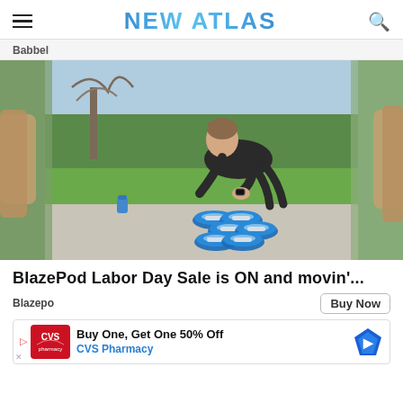NEW ATLAS
Babbel
[Figure (photo): Man in black tank top doing a push-up exercise over blue BlazePod light pods on a concrete outdoor surface, with grass and trees in background. Image has blurred sides showing a vertical-format photo centered on a wider background.]
BlazePod Labor Day Sale is ON and movin'...
Blazepo
Buy Now
[Figure (infographic): CVS Pharmacy advertisement banner: Buy One, Get One 50% Off at CVS Pharmacy, with CVS logo and map pin icon.]